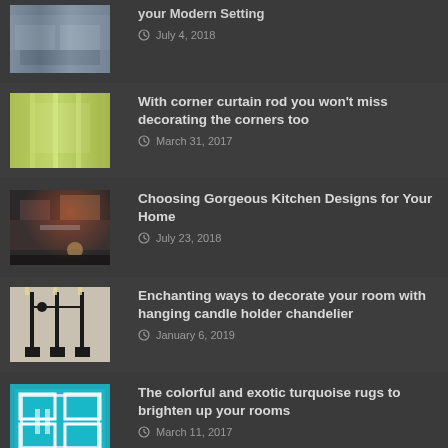your Modern Setting — July 4, 2018
With corner curtain rod you won't miss decorating the corners too — March 31, 2017
Choosing Gorgeous Kitchen Designs for Your Home — July 23, 2018
Enchanting ways to decorate your room with hanging candle holder chandelier — January 6, 2019
The colorful and exotic turquoise rugs to brighten up your rooms — March 11, 2017